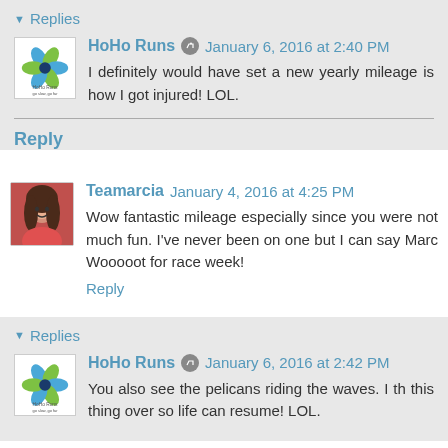Replies
[Figure (logo): HoHo Runs logo - colorful pinwheel/flower shape]
HoHo Runs  January 6, 2016 at 2:40 PM
I definitely would have set a new yearly mileage is how I got injured! LOL.
Reply
[Figure (photo): Photo of Teamarcia - woman with long dark hair]
Teamarcia  January 4, 2016 at 4:25 PM
Wow fantastic mileage especially since you were not much fun. I've never been on one but I can say Marc Wooooot for race week!
Reply
Replies
[Figure (logo): HoHo Runs logo - colorful pinwheel/flower shape]
HoHo Runs  January 6, 2016 at 2:42 PM
You also see the pelicans riding the waves. I th this thing over so life can resume! LOL.